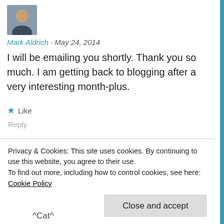[Figure (photo): Avatar photo of Mark Aldrich, a man with dark hair]
Mark Aldrich · May 24, 2014
I will be emailing you shortly. Thank you so much. I am getting back to blogging after a very interesting month-plus.
★ Like
Reply
[Figure (photo): Avatar photo of a woman in red clothing]
Privacy & Cookies: This site uses cookies. By continuing to use this website, you agree to their use.
To find out more, including how to control cookies, see here: Cookie Policy
Close and accept
^Cat^